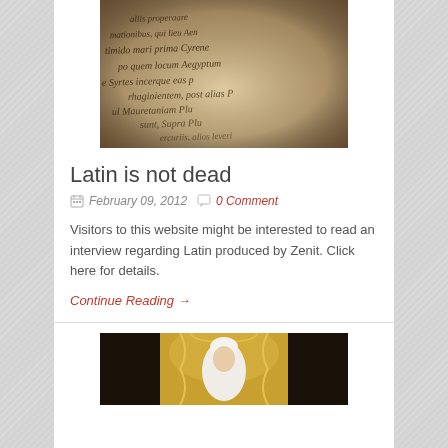[Figure (photo): Close-up of ancient Latin text on parchment or stone, italic script visible]
Latin is not dead
February 09, 2012   0 Comment
Visitors to this website might be interested to read an interview regarding Latin produced by Zenit. Click here for details.
Continue Reading →
[Figure (photo): Photo of Pope Benedict XVI in ceremonial golden robes and white vestments]